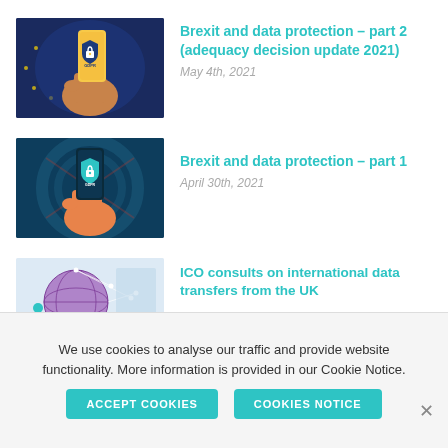[Figure (illustration): Illustration of a hand holding a smartphone displaying a GDPR shield lock icon, against a dark blue background with EU stars]
Brexit and data protection – part 2 (adequacy decision update 2021)
May 4th, 2021
[Figure (illustration): Illustration of a hand holding a smartphone displaying a GDPR lock icon, against a teal/dark blue background]
Brexit and data protection – part 1
April 30th, 2021
[Figure (illustration): Illustration of a person working with a globe network and a map in the background]
ICO consults on international data transfers from the UK
We use cookies to analyse our traffic and provide website functionality. More information is provided in our Cookie Notice.